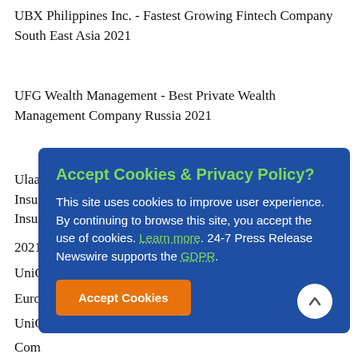UBX Philippines Inc. - Fastest Growing Fintech Company South East Asia 2021
UFG Wealth Management - Best Private Wealth Management Company Russia 2021
Ulaanbaatar City Insurance - Best General Insurance Product (Comprehensive Apartment Insurance) Mongolia 2021
UniCredit - Best Bank Europe (partially obscured by modal)
UniCredit - Best Digital Bank Company (partially obscured)
UniCredit - Best Life Insurance App China 2021
2021
Accept Cookies & Privacy Policy? This site uses cookies to improve user experience. By continuing to browse this site, you accept the use of cookies. Learn more. 24-7 Press Release Newswire supports the GDPR. Accept Cookies